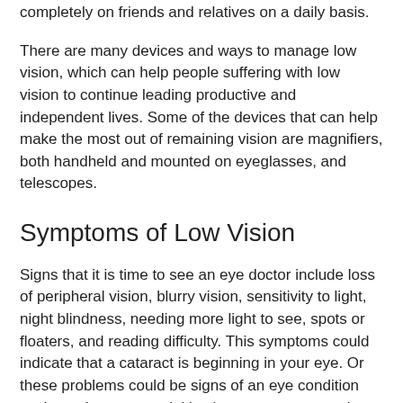completely on friends and relatives on a daily basis.
There are many devices and ways to manage low vision, which can help people suffering with low vision to continue leading productive and independent lives. Some of the devices that can help make the most out of remaining vision are magnifiers, both handheld and mounted on eyeglasses, and telescopes.
Symptoms of Low Vision
Signs that it is time to see an eye doctor include loss of peripheral vision, blurry vision, sensitivity to light, night blindness, needing more light to see, spots or floaters, and reading difficulty. This symptoms could indicate that a cataract is beginning in your eye. Or these problems could be signs of an eye condition such as glaucoma, retinitis pigmentosa, or macular degeneration. Make sure to see your eye doctor before any eye condition becomes so serious that vision loss occurs.
If it's not possible to correct your vision loss with surgery, medical treatment, or eyewear, your eye doctor will send you to a specialist in low vision care. A low vision specialist, who is usually